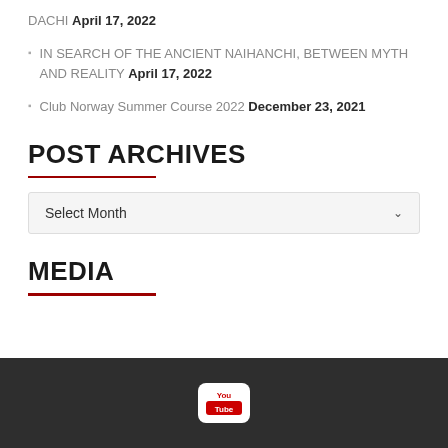DACHI April 17, 2022
IN SEARCH OF THE ANCIENT NAIHANCHI, BETWEEN MYTH AND REALITY April 17, 2022
Club Norway Summer Course 2022 December 23, 2021
POST ARCHIVES
Select Month
MEDIA
[Figure (logo): YouTube logo icon, white background with red YouTube text and play button]